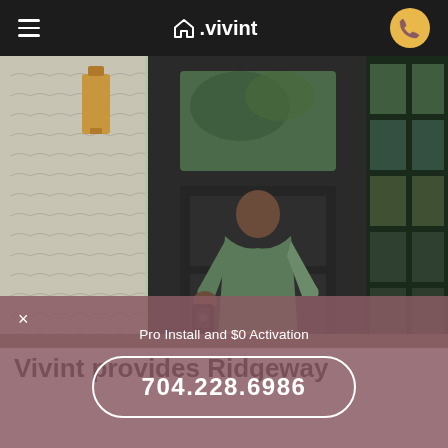≡  △.vivint  [phone icon]
[Figure (photo): A person viewed from behind, using a smart lock on a dark front door of a home. Shingle siding visible on the left, a tall window on the right.]
Vivint provides Ridgeway
Pro Install and $0 Activation
704.228.6986